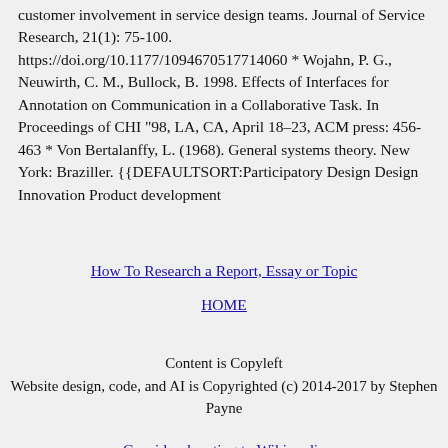customer involvement in service design teams. Journal of Service Research, 21(1): 75-100. https://doi.org/10.1177/1094670517714060 * Wojahn, P. G., Neuwirth, C. M., Bullock, B. 1998. Effects of Interfaces for Annotation on Communication in a Collaborative Task. In Proceedings of CHI "98, LA, CA, April 18–23, ACM press: 456-463 * Von Bertalanffy, L. (1968). General systems theory. New York: Braziller. {{DEFAULTSORT:Participatory Design Design Innovation Product development
How To Research a Report, Essay or Topic
HOME
Content is Copyleft
Website design, code, and AI is Copyrighted (c) 2014-2017 by Stephen Payne
Consider donating to Wikimedia